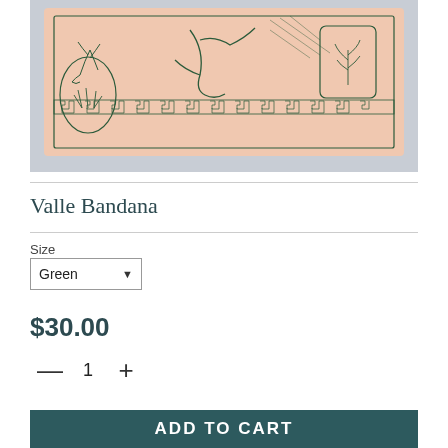[Figure (photo): A pink/peach colored bandana laid flat on a light blue-grey surface. The bandana features dark green printed design with birds, plants, and decorative border patterns.]
Valle Bandana
Size
Green
$30.00
1
ADD TO CART